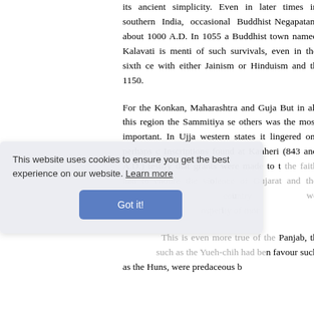its ancient simplicity. Even in later times in southern India, occasional Buddhist survivals are found. Negapatam about 1000 A.D. In 1055 a Buddhist town named Kalavati is mentioned. of such survivals, even in the sixth century, had merged with either Jainism or Hinduism and the last trace disappears about 1150.
For the Konkan, Maharashtra and Gujarat the story is different. But in all this region the Sammitiya sect above all others was the most important. In Ujjain and the other western states it lingered on, perhaps owing to royal patronage. Inscriptions found at Kanheri (843 and 853 A.D.) testify that grants were made to monks. But the faith had to endure the violence of the later Huns. Gujarat and the surrounding country were still prosperous. ty of more
This is even more true of the Panjab, th such as the Yueh-chih had been favour such as the Huns, were predaceous b
This website uses cookies to ensure you get the best experience on our website. Learn more